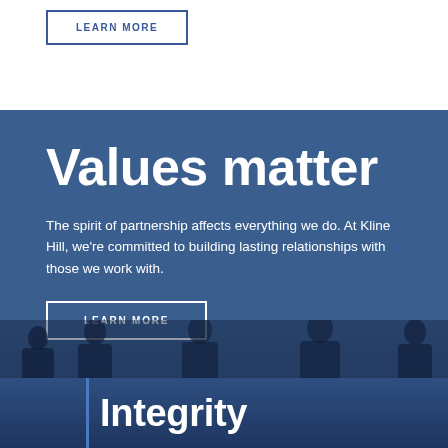LEARN MORE
Values matter
The spirit of partnership affects everything we do. At Kline Hill, we're committed to building lasting relationships with those we work with.
LEARN MORE
Integrity